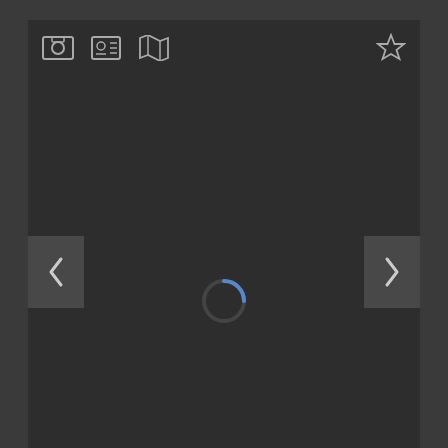[Figure (screenshot): Dark-themed real estate listing viewer with toolbar icons (photo, contact, map, star/favorite), navigation arrows (prev/next), a loading spinner in center, and '1 of 20' photo counter badge in lower right of image area.]
427-429 Russell Street
427-429 Russell Street Covington, Kentucky 41011 U...
6  [bed icon]  5  [bath icon]  4,748  [sqft icon]  $1,199,000
Listing Courtesy of Comey & Shepherd REALTORS